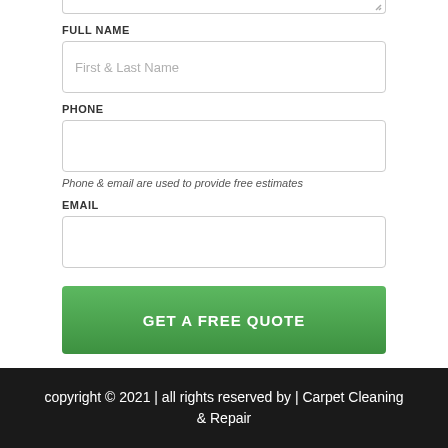FULL NAME
First & Last Name
PHONE
Phone & email are used to provide free estimates
EMAIL
GET A FREE QUOTE
By submitting your contact information, you understand and agree that you may
copyright © 2021 | all rights reserved by | Carpet Cleaning & Repair